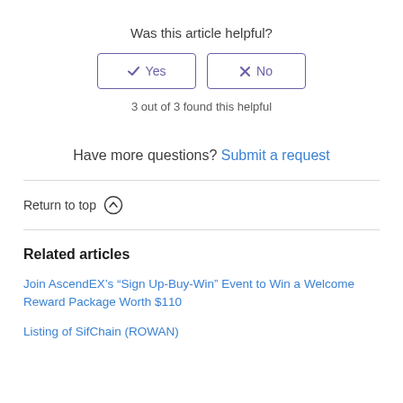Was this article helpful?
[Figure (other): Two buttons labeled 'Yes' (with checkmark icon) and 'No' (with X icon), both outlined in purple]
3 out of 3 found this helpful
Have more questions? Submit a request
Return to top ↑
Related articles
Join AscendEX’s “Sign Up-Buy-Win” Event to Win a Welcome Reward Package Worth $110
Listing of SifChain (ROWAN)